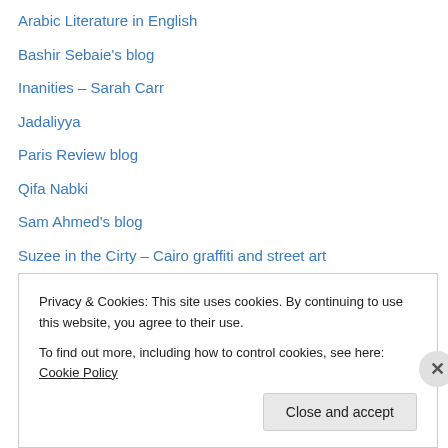Arabic Literature in English
Bashir Sebaie's blog
Inanities – Sarah Carr
Jadaliyya
Paris Review blog
Qifa Nabki
Sam Ahmed's blog
Suzee in the Cirty – Cairo graffiti and street art
Tarek's "Two Words"
thanassis cambanis' blog
The Arabist
The National culture page
Youm7 English
Privacy & Cookies: This site uses cookies. By continuing to use this website, you agree to their use.
To find out more, including how to control cookies, see here: Cookie Policy